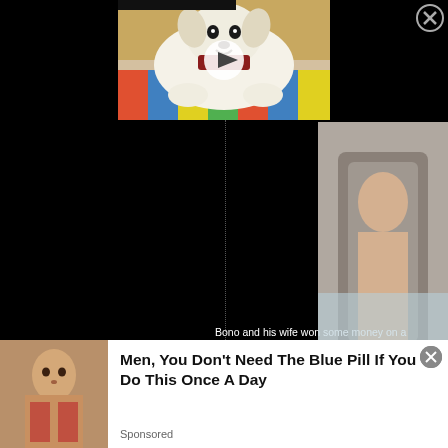[Figure (photo): Video thumbnail showing a white/cream colored dog (golden retriever or similar) lying on a colorful blanket/mat, wearing a bandana. A white play button circle is overlaid in the center. A close (X) button is in the top right corner of the page.]
[Figure (photo): Partial side image of a person sitting in a chair, visible on the right side of the page. A Getty Images watermark is visible at the bottom left of this image.]
Bono and his wife won some money on a
[Figure (photo): Advertisement banner at the bottom of the page. Shows a woman on the left side image and text: 'Men, You Don't Need The Blue Pill If You Do This Once A Day' with 'Sponsored' label and a close button.]